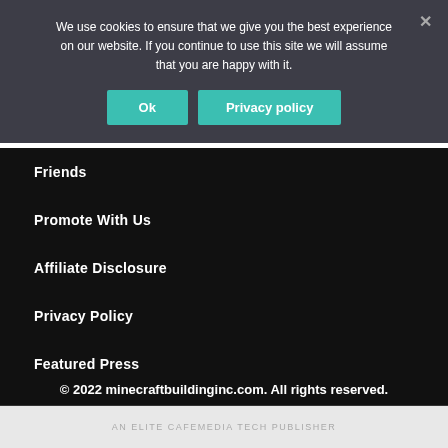We use cookies to ensure that we give you the best experience on our website. If you continue to use this site we will assume that you are happy with it.
Ok
Privacy policy
Friends
Promote With Us
Affiliate Disclosure
Privacy Policy
Featured Press
© 2022 minecraftbuildinginc.com. All rights reserved.
AN ELITE CAFEMEDIA TECH PUBLISHER